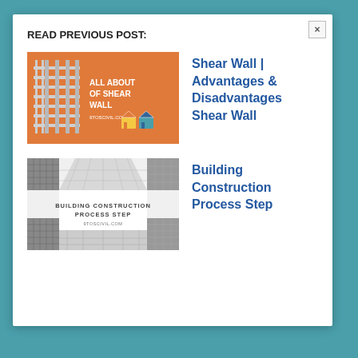READ PREVIOUS POST:
[Figure (illustration): Orange banner image showing a shear wall structure with text 'ALL ABOUT OF SHEAR WALL' and 9TOSCIVIL.COM, with small house icons]
Shear Wall | Advantages & Disadvantages Shear Wall
[Figure (illustration): Black and white image showing building construction grid/structure with text 'BUILDING CONSTRUCTION PROCESS STEP' and 9TOSCIVIL.COM]
Building Construction Process Step